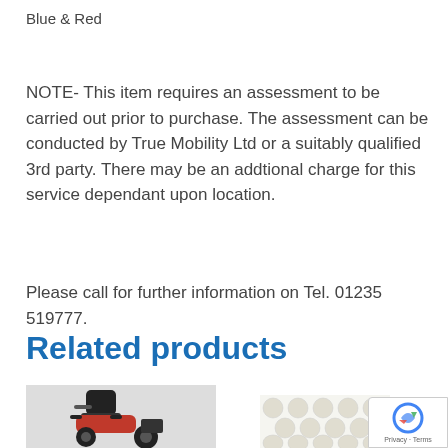Blue & Red
NOTE- This item requires an assessment to be carried out prior to purchase. The assessment can be conducted by True Mobility Ltd or a suitably qualified 3rd party. There may be an addtional charge for this service dependant upon location.
Please call for further information on Tel. 01235 519777.
Related products
[Figure (photo): Photo of a red mobility scooter with black seat and front basket]
[Figure (photo): Photo of a white egg-crate foam cushion/mattress topper]